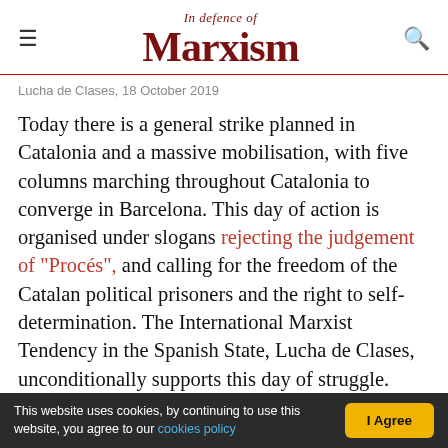In Defence of Marxism
Lucha de Clases, 18 October 2019
Today there is a general strike planned in Catalonia and a massive mobilisation, with five columns marching throughout Catalonia to converge in Barcelona. This day of action is organised under slogans rejecting the judgement of "Procés", and calling for the freedom of the Catalan political prisoners and the right to self-determination. The International Marxist Tendency in the Spanish State, Lucha de Clases, unconditionally supports this day of struggle.
This website uses cookies, by continuing to use this website, you agree to our cookies policy | I Agree